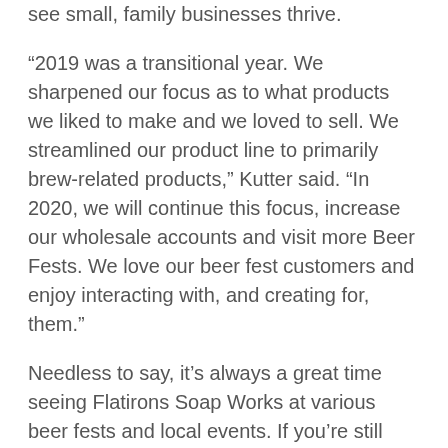see small, family businesses thrive.
“2019 was a transitional year. We sharpened our focus as to what products we liked to make and we loved to sell. We streamlined our product line to primarily brew-related products,” Kutter said. “In 2020, we will continue this focus, increase our wholesale accounts and visit more Beer Fests. We love our beer fest customers and enjoy interacting with, and creating for, them.”
Needless to say, it’s always a great time seeing Flatirons Soap Works at various beer fests and local events. If you’re still shopping around for the beer lover in your life this holiday season, or for a special occasion down the road, these products from Flatirons Soap Works will surely add a special twist.
Feature Image Photo Credit: Flatirons Soap Works